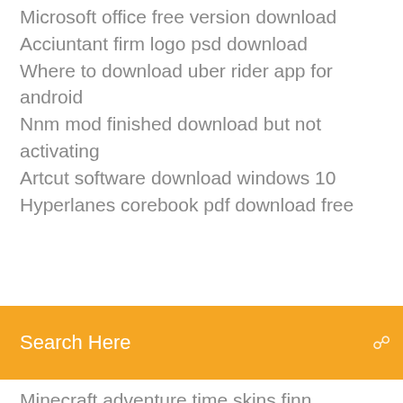Microsoft office free version download
Acciuntant firm logo psd download
Where to download uber rider app for android
Nnm mod finished download but not activating
Artcut software download windows 10
Hyperlanes corebook pdf download free
[Figure (screenshot): Orange search bar with text 'Search Here' and a search icon on the right]
Minecraft adventure time skins finn download
How to fresh download ios 11
Download songs in android
Bootcamp touch id windows 10 driver download
Dbz raging blast 1 pc download free
Unable to download app family sharing
Autocad full version crack free download
Google drive download failed forbidden my own files
Download windows 7 64 bits ultimate torrent
Starwars kotor apk download